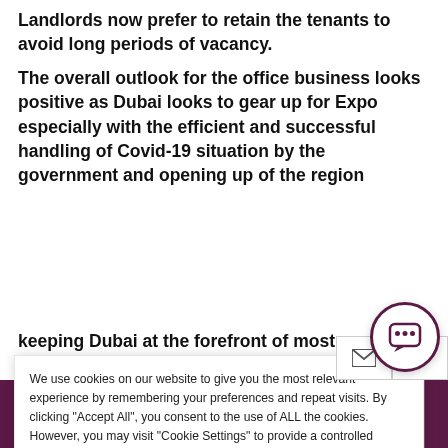Landlords now prefer to retain the tenants to avoid long periods of vacancy.
The overall outlook for the office business looks positive as Dubai looks to gear up for Expo especially with the efficient and successful handling of Covid-19 situation by the government and opening up of the region keeping Dubai at the forefront of most
We use cookies on our website to give you the most relevant experience by remembering your preferences and repeat visits. By clicking "Accept All", you consent to the use of ALL the cookies. However, you may visit "Cookie Settings" to provide a controlled consent.
Cookie Settings
Accept All
Welcome to our site!
Berkshire Hathaway HomeServices Gulf Properties
About